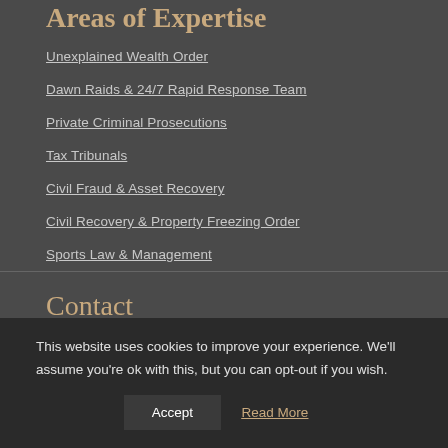Areas of Expertise
Unexplained Wealth Order
Dawn Raids & 24/7 Rapid Response Team
Private Criminal Prosecutions
Tax Tribunals
Civil Fraud & Asset Recovery
Civil Recovery & Property Freezing Order
Sports Law & Management
Contact
This website uses cookies to improve your experience. We'll assume you're ok with this, but you can opt-out if you wish.
Accept  Read More